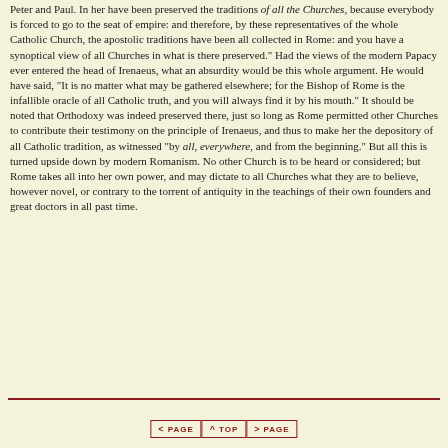Peter and Paul. In her have been preserved the traditions of all the Churches, because everybody is forced to go to the seat of empire: and therefore, by these representatives of the whole Catholic Church, the apostolic traditions have been all collected in Rome: and you have a synoptical view of all Churches in what is there preserved." Had the views of the modern Papacy ever entered the head of Irenaeus, what an absurdity would be this whole argument. He would have said, "It is no matter what may be gathered elsewhere; for the Bishop of Rome is the infallible oracle of all Catholic truth, and you will always find it by his mouth." It should be noted that Orthodoxy was indeed preserved there, just so long as Rome permitted other Churches to contribute their testimony on the principle of Irenaeus, and thus to make her the depository of all Catholic tradition, as witnessed "by all, everywhere, and from the beginning." But all this is turned upside down by modern Romanism. No other Church is to be heard or considered; but Rome takes all into her own power, and may dictate to all Churches what they are to believe, however novel, or contrary to the torrent of antiquity in the teachings of their own founders and great doctors in all past time.
< PAGE  ^ TOP  > PAGE